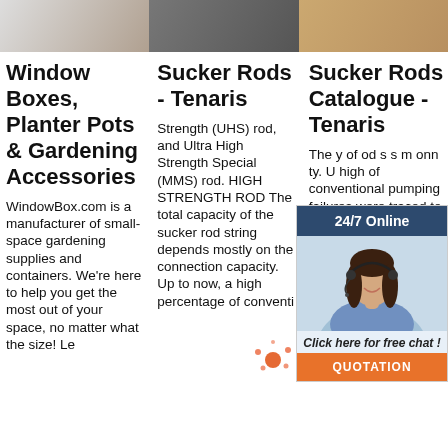[Figure (photo): Three product/content images at top: gardening related, metal sucker rod fitting, and potatoes/produce]
Window Boxes, Planter Pots & Gardening Accessories
WindowBox.com is a manufacturer of small-space gardening supplies and containers. We're here to help you get the most out of your space, no matter what the size! Le
Sucker Rods - Tenaris
Strength (UHS) rod, and Ultra High Strength Special (MMS) rod. HIGH STRENGTH ROD The total capacity of the sucker rod string depends mostly on the connection capacity. Up to now, a high percentage of conventi
Sucker Rods Catalogue - Tenaris
The y of od s s m onn ty. U high of conventional pumping failures were traced to this part of the rods. BlueRod®d
[Figure (photo): 24/7 online chat widget with woman wearing headset, dark blue header, chat button, and orange QUOTATION button]